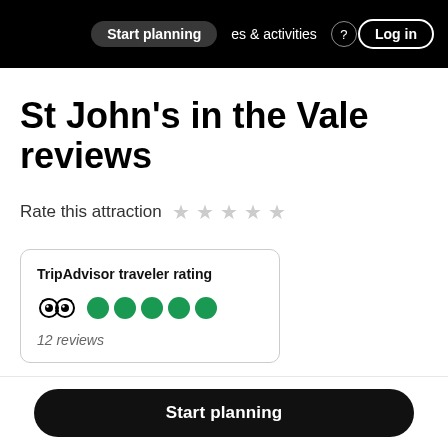Start planning   es & activities   Log in
St John's in the Vale reviews
Rate this attraction
TripAdvisor traveler rating
12 reviews
Start planning